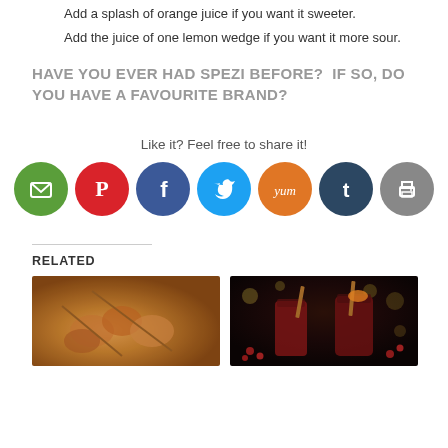Add a splash of orange juice if you want it sweeter.
Add the juice of one lemon wedge if you want it more sour.
HAVE YOU EVER HAD SPEZI BEFORE?  IF SO, DO YOU HAVE A FAVOURITE BRAND?
Like it? Feel free to share it!
[Figure (infographic): Row of seven social sharing icon circles: email (green), Pinterest (red), Facebook (dark blue), Twitter (light blue), Yum (orange), Tumblr (dark navy), Print (gray)]
RELATED
[Figure (photo): Photo of caramel-coated food items on skewers]
[Figure (photo): Photo of dark red drinks in glasses with cinnamon sticks and cranberries]